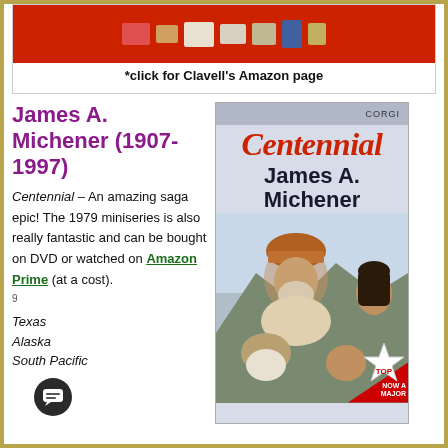[Figure (photo): Top banner image showing colorful boxes/products against a red background]
*click for Clavell's Amazon page
James A. Michener (1907-1997)
Centennial – An amazing saga epic! The 1979 miniseries is also really fantastic and can be bought on DVD or watched on Amazon Prime (at a cost).
[Figure (photo): Book cover of Centennial by James A. Michener, Corgi edition, showing illustrated faces of frontier and Native American characters]
Texas
Alaska
South Pacific